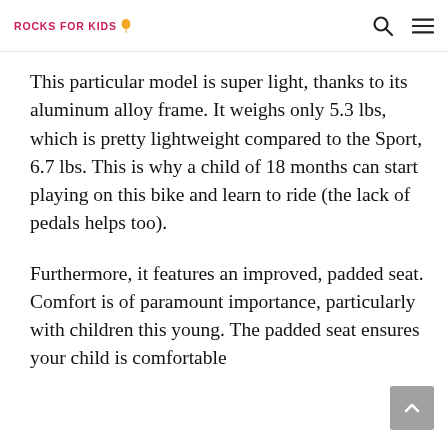ROCKS FOR KIDS
This particular model is super light, thanks to its aluminum alloy frame. It weighs only 5.3 lbs, which is pretty lightweight compared to the Sport, 6.7 lbs. This is why a child of 18 months can start playing on this bike and learn to ride (the lack of pedals helps too).
Furthermore, it features an improved, padded seat. Comfort is of paramount importance, particularly with children this young. The padded seat ensures your child is comfortable